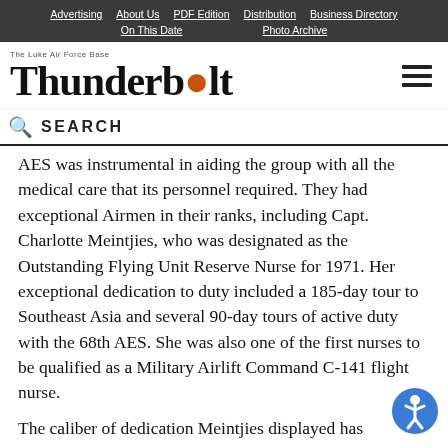Advertising | About Us | PDF Edition | Distribution | Business Directory | On This Date | Photo Archive
Thunderbolt
SEARCH
AES was instrumental in aiding the group with all the medical care that its personnel required. They had exceptional Airmen in their ranks, including Capt. Charlotte Meintjies, who was designated as the Outstanding Flying Unit Reserve Nurse for 1971. Her exceptional dedication to duty included a 185-day tour to Southeast Asia and several 90-day tours of active duty with the 68th AES. She was also one of the first nurses to be qualified as a Military Airlift Command C-141 flight nurse.
The caliber of dedication Meintjies displayed has